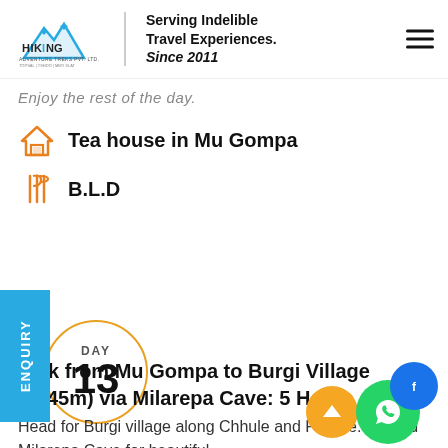[Figure (logo): Hiking Adventure Treks Pvt. Ltd. logo with mountain graphic and tagline 'Serving Indelible Travel Experiences. Since 2011']
Enjoy the rest of the day.
Tea house in Mu Gompa
B.L.D
ENQUIRY
DAY 13
Trek from Mu Gompa to Burgi Village (3245m) via Milarepa Cave: 5 Hours
Head for Burgi village along Chhule and Phurbe. Ascend Milarepa Cave for beautiful